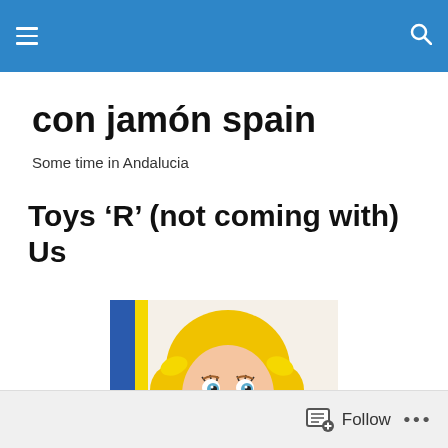con jamón spain — navigation header with hamburger menu and search icon
con jamón spain
Some time in Andalucia
Toys 'R' (not coming with) Us
[Figure (photo): A vintage smiling doll with yellow hair and blue/green floral outfit, shown against a light background]
Follow  •••